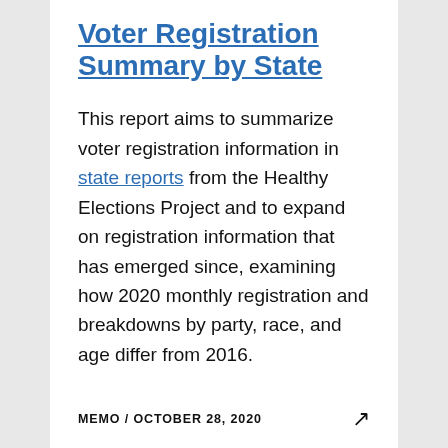Voter Registration Summary by State
This report aims to summarize voter registration information in state reports from the Healthy Elections Project and to expand on registration information that has emerged since, examining how 2020 monthly registration and breakdowns by party, race, and age differ from 2016.
MEMO / OCTOBER 28, 2020